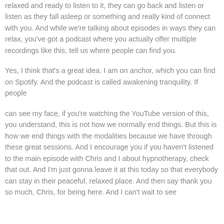relaxed and ready to listen to it, they can go back and listen or listen as they fall asleep or something and really kind of connect with you. And while we're talking about episodes in ways they can relax, you've got a podcast where you actually offer multiple recordings like this, tell us where people can find you.
Yes, I think that's a great idea. I am on anchor, which you can find on Spotify. And the podcast is called awakening tranquility. If people
can see my face, if you're watching the YouTube version of this, you understand, this is not how we normally end things. But this is how we end things with the modalities because we have through these great sessions. And I encourage you if you haven't listened to the main episode with Chris and I about hypnotherapy, check that out. And I'm just gonna leave it at this today so that everybody can stay in their peaceful, relaxed place. And then say thank you so much, Chris, for being here. And I can't wait to see